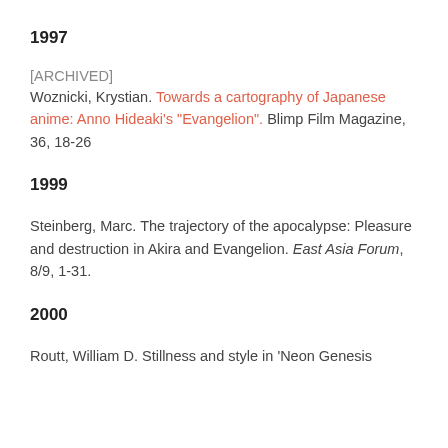1997
[ARCHIVED]
Woznicki, Krystian. Towards a cartography of Japanese anime: Anno Hideaki's "Evangelion". Blimp Film Magazine, 36, 18-26
1999
Steinberg, Marc. The trajectory of the apocalypse: Pleasure and destruction in Akira and Evangelion. East Asia Forum, 8/9, 1-31.
2000
Routt, William D. Stillness and style in 'Neon Genesis Evangelion'. Animation: An Interdisciplinary Journal, 3(1), 29-46.